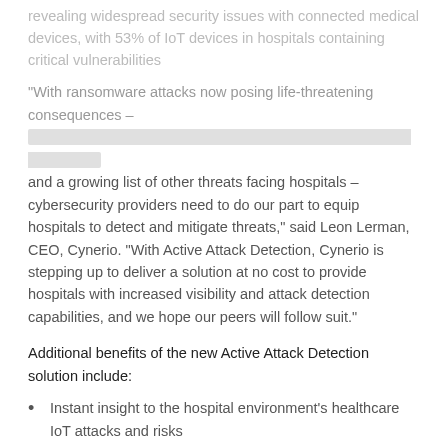revealing widespread security issues with connected medical devices, with 53% of IoT devices in hospitals containing critical vulnerabilities
"With ransomware attacks now posing life-threatening consequences – [faded text] – and a growing list of other threats facing hospitals – cybersecurity providers need to do our part to equip hospitals to detect and mitigate threats," said Leon Lerman, CEO, Cynerio. "With Active Attack Detection, Cynerio is stepping up to deliver a solution at no cost to provide hospitals with increased visibility and attack detection capabilities, and we hope our peers will follow suit."
Additional benefits of the new Active Attack Detection solution include:
Instant insight to the hospital environment's healthcare IoT attacks and risks
Expedited and optimized Cynerio deployment, network traffic analysis, and reporting
Swift detection of ransomware and malware attacks missed by in-place systems in over 80% of Cynerio deployments
Full Cynerio support from installation to final reporting